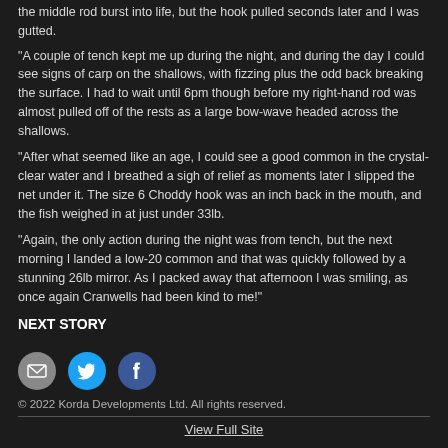the middle rod burst into life, but the hook pulled seconds later and I was gutted.
“A couple of tench kept me up during the night, and during the day I could see signs of carp on the shallows, with fizzing plus the odd back breaking the surface. I had to wait until 6pm though before my right-hand rod was almost pulled off of the rests as a large bow-wave headed across the shallows.
“After what seemed like an age, I could see a good common in the crystal-clear water and I breathed a sigh of relief as moments later I slipped the net under it. The size 6 Choddy hook was an inch back in the mouth, and the fish weighed in at just under 33lb.
“Again, the only action during the night was from tench, but the next morning I landed a low-20 common and that was quickly followed by a stunning 26lb mirror. As I packed away that afternoon I was smiling, as once again Cranwells had been kind to me!"
NEXT STORY
[Figure (other): Social share icons: email, Twitter, Facebook]
© 2022 Korda Developments Ltd. All rights reserved.
View Full Site